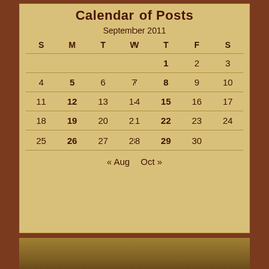Calendar of Posts
September 2011
| S | M | T | W | T | F | S |
| --- | --- | --- | --- | --- | --- | --- |
|  |  |  |  | 1 | 2 | 3 |
| 4 | 5 | 6 | 7 | 8 | 9 | 10 |
| 11 | 12 | 13 | 14 | 15 | 16 | 17 |
| 18 | 19 | 20 | 21 | 22 | 23 | 24 |
| 25 | 26 | 27 | 28 | 29 | 30 |  |
« Aug   Oct »
[Figure (photo): Photo strip at the bottom of the page, partially visible landscape or outdoor scene in brown/sepia tones]